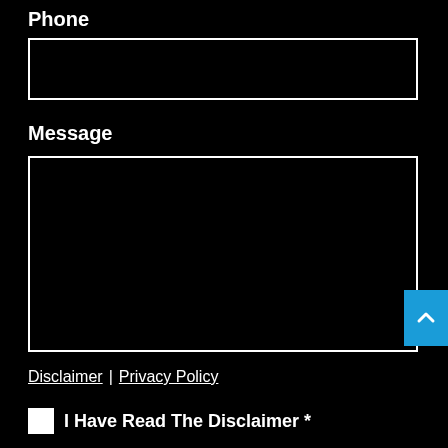Phone
[Figure (other): Empty phone input field with white border on black background]
Message
[Figure (other): Empty message textarea with white border on black background, with blue scroll-to-top button overlapping right side]
Disclaimer | Privacy Policy
I Have Read The Disclaimer *